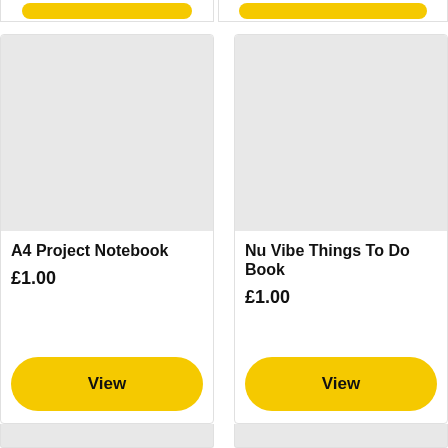[Figure (screenshot): Top portion of two product cards showing yellow 'View' buttons at the bottom, partially visible]
A4 Project Notebook
£1.00
View
Nu Vibe Things To Do Book
£1.00
View
[Figure (screenshot): Bottom partial view of two more product cards with grey image placeholders]